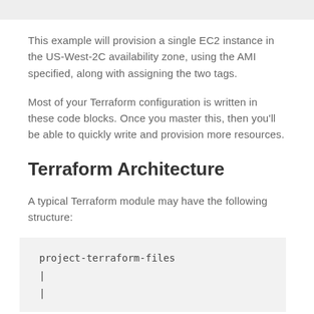This example will provision a single EC2 instance in the US-West-2C availability zone, using the AMI specified, along with assigning the two tags.
Most of your Terraform configuration is written in these code blocks. Once you master this, then you'll be able to quickly write and provision more resources.
Terraform Architecture
A typical Terraform module may have the following structure:
project-terraform-files
|